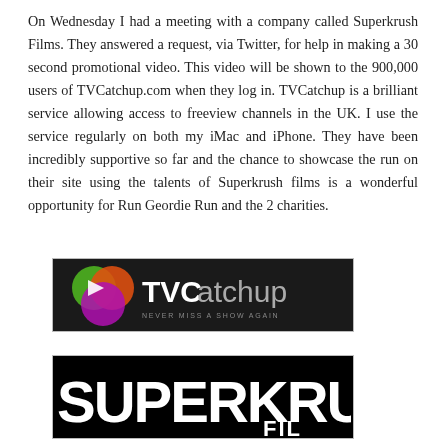On Wednesday I had a meeting with a company called Superkrush Films. They answered a request, via Twitter, for help in making a 30 second promotional video. This video will be shown to the 900,000 users of TVCatchup.com when they log in. TVCatchup is a brilliant service allowing access to freeview channels in the UK. I use the service regularly on both my iMac and iPhone. They have been incredibly supportive so far and the chance to showcase the run on their site using the talents of Superkrush films is a wonderful opportunity for Run Geordie Run and the 2 charities.
[Figure (logo): TVCatchup logo — dark background with colorful overlapping circles (green, orange, purple) and the text 'TVCatchup' with tagline 'NEVER MISS A SHOW AGAIN']
[Figure (logo): Superkrush Films logo — black background with large white bold text 'SUPERKRUS' and 'FIL' visible, partially cropped]